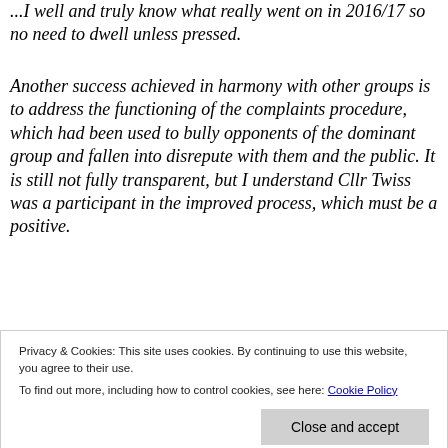...I well and truly know what really went on in 2016/17 so no need to dwell unless pressed.
Another success achieved in harmony with other groups is to address the functioning of the complaints procedure, which had been used to bully opponents of the dominant group and fallen into disrepute with them and the public. It is still not fully transparent, but I understand Cllr Twiss was a participant in the improved process, which must be a positive.
One endeavour of Cllr Arnott with limited success
Privacy & Cookies: This site uses cookies. By continuing to use this website, you agree to their use. To find out more, including how to control cookies, see here: Cookie Policy
the first known offence and still remains